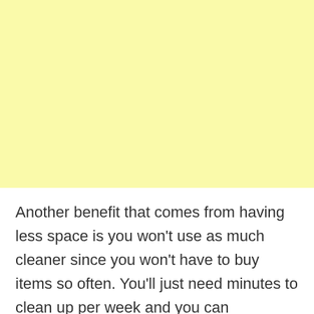[Figure (other): Large yellow/cream colored rectangular block filling the upper portion of the page]
Another benefit that comes from having less space is you won't use as much cleaner since you won't have to buy items so often. You'll just need minutes to clean up per week and you can concentrate on doing the things you really want to